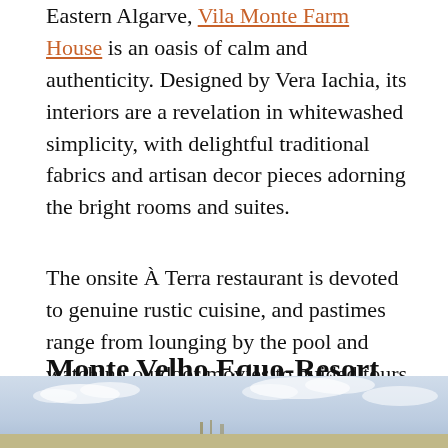Eastern Algarve, Vila Monte Farm House is an oasis of calm and authenticity. Designed by Vera Iachia, its interiors are a revelation in whitewashed simplicity, with delightful traditional fabrics and artisan decor pieces adorning the bright rooms and suites.
The onsite À Terra restaurant is devoted to genuine rustic cuisine, and pastimes range from lounging by the pool and watching outdoor movies to guided tours through the striking Ria Formosa Natural Park nearby.
Monte Velho Equo-Resort
[Figure (photo): Landscape photo showing a pale blue sky with light clouds and a distant horizon with ground.]